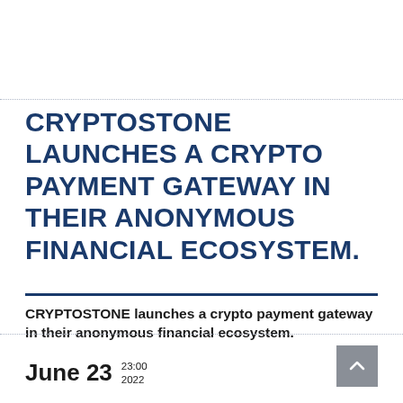CRYPTOSTONE LAUNCHES A CRYPTO PAYMENT GATEWAY IN THEIR ANONYMOUS FINANCIAL ECOSYSTEM.
CRYPTOSTONE launches a crypto payment gateway in their anonymous financial ecosystem.
June 23  23:00  2022